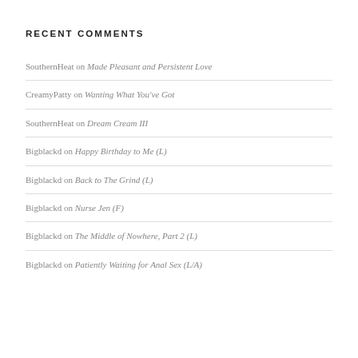RECENT COMMENTS
SouthernHeat on Made Pleasant and Persistent Love
CreamyPatty on Wanting What You've Got
SouthernHeat on Dream Cream III
Bigblackd on Happy Birthday to Me (L)
Bigblackd on Back to The Grind (L)
Bigblackd on Nurse Jen (F)
Bigblackd on The Middle of Nowhere, Part 2 (L)
Bigblackd on Patiently Waiting for Anal Sex (L/A)